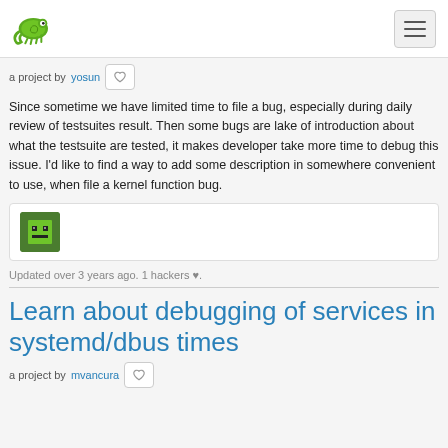Hackpad logo and navigation menu
a project by yosun
Since sometime we have limited time to file a bug, especially during daily review of testsuites result. Then some bugs are lake of introduction about what the testsuite are tested, it makes developer take more time to debug this issue. I'd like to find a way to add some description in somewhere convenient to use, when file a kernel function bug.
[Figure (photo): User avatar image showing a pixel-art style character with green face]
Updated over 3 years ago. 1 hackers ♥.
Learn about debugging of services in systemd/dbus times
a project by mvancura